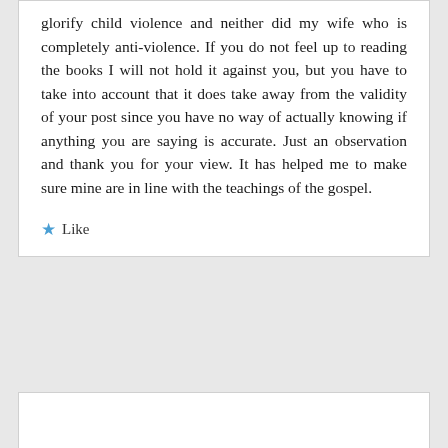glorify child violence and neither did my wife who is completely anti-violence. If you do not feel up to reading the books I will not hold it against you, but you have to take into account that it does take away from the validity of your post since you have no way of actually knowing if anything you are saying is accurate. Just an observation and thank you for your view. It has helped me to make sure mine are in line with the teachings of the gospel.
★ Like